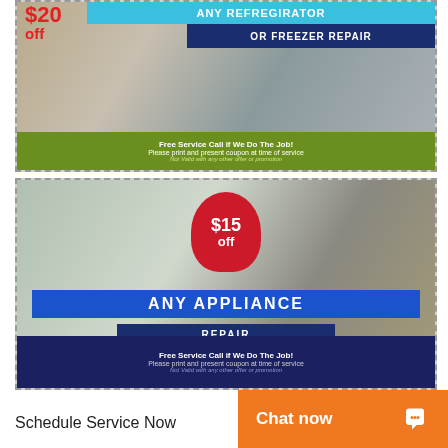[Figure (infographic): Coupon for $20 off any refrigerator or freezer repair. Red price badge top left. Cyan banner reads ANY REFRIGERATOR. Navy banner reads OR FREEZER REPAIR. Green footer: Free Service Call if We Do The Job! Please print and present coupon at time of service. Not Valid with any other offer or promotion.]
[Figure (infographic): Coupon for $15 off any appliance repair. Red shield badge center with $15 off. Blue banner reads ANY APPLIANCE. Navy banner reads REPAIR. Dark navy footer: Free Service Call if We Do The Job! Please print and present coupon at time of service. Not Valid with any other offer or promotion.]
Schedule Service Now
Chat now